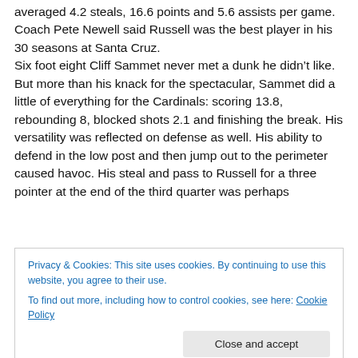averaged 4.2 steals, 16.6 points and 5.6 assists per game. Coach Pete Newell said Russell was the best player in his 30 seasons at Santa Cruz.
Six foot eight Cliff Sammet never met a dunk he didn't like. But more than his knack for the spectacular, Sammet did a little of everything for the Cardinals: scoring 13.8, rebounding 8, blocked shots 2.1 and finishing the break. His versatility was reflected on defense as well. His ability to defend in the low post and then jump out to the perimeter caused havoc. His steal and pass to Russell for a three pointer at the end of the third quarter was perhaps
Privacy & Cookies: This site uses cookies. By continuing to use this website, you agree to their use.
To find out more, including how to control cookies, see here: Cookie Policy
Close and accept
Coach of the Year. Pete Newell. There was no more fiting